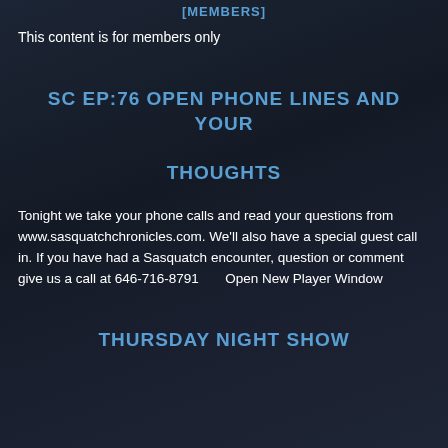[MEMBERS]
This content is for members only
SC EP:76 OPEN PHONE LINES AND YOUR THOUGHTS
Tonight we take your phone calls and read your questions from www.sasquatchchronicles.com. We'll also have a special guest call in. If you have had a Sasquatch encounter, question or comment give us a call at 646-716-8791       Open New Player Window
THURSDAY NIGHT SHOW